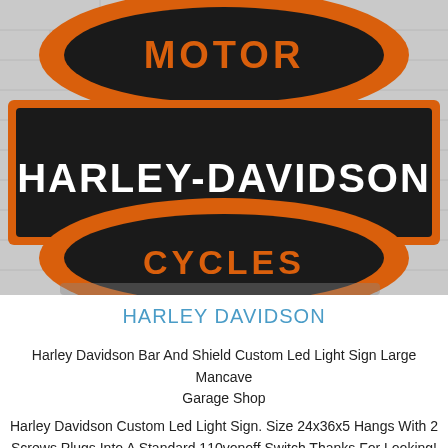[Figure (photo): Photograph of a Harley-Davidson Motor Cycles Bar and Shield LED light sign in orange, black, and white, displayed against a white brick wall background.]
HARLEY DAVIDSON
Harley Davidson Bar And Shield Custom Led Light Sign Large Mancave Garage Shop
Harley Davidson Custom Led Light Sign. Size 24x36x5 Hangs With 2 Screws Plugs Into A Standard 110vonoff Switch Thanks For Looking!